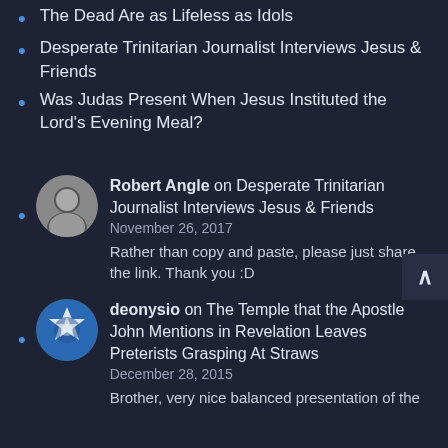The Dead Are as Lifeless as Idols
Desperate Trinitarian Journalist Interviews Jesus & Friends
Was Judas Present When Jesus Instituted the Lord's Evening Meal?
Robert Angle on Desperate Trinitarian Journalist Interviews Jesus & Friends
November 26, 2017
Rather than copy and paste, please just share the link. Thank you :D
deonysio on The Temple that the Apostle John Mentions in Revelation Leaves Preterists Grasping At Straws
December 28, 2015
Brother, very nice balanced presentation of the